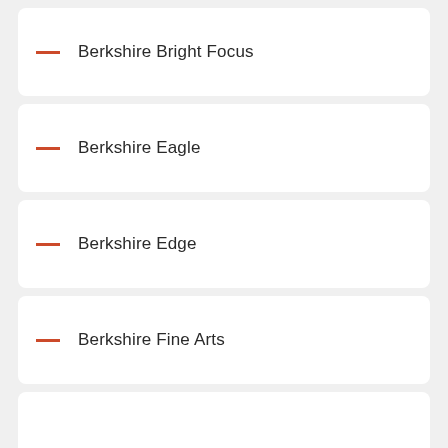Berkshire Bright Focus
Berkshire Eagle
Berkshire Edge
Berkshire Fine Arts
Berkshire Theatre Critics Association
Berkshire Visitor's Bureau